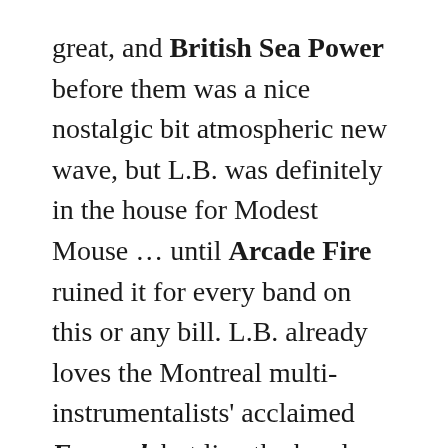great, and British Sea Power before them was a nice nostalgic bit atmospheric new wave, but L.B. was definitely in the house for Modest Mouse ... until Arcade Fire ruined it for every band on this or any bill. L.B. already loves the Montreal multi-instrumentalists' acclaimed Funeral, but live the band takes things somewhere else.
Some of the thickly arranged atmosphere that permeates the